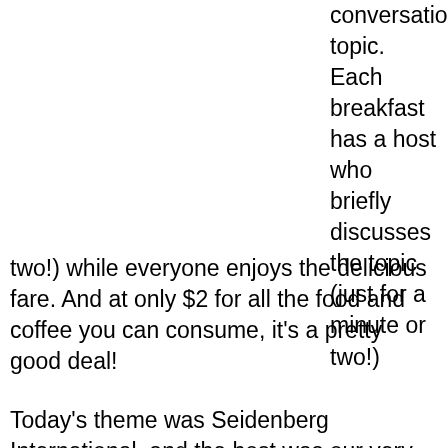conversation topic. Each breakfast has a host who briefly discusses the topic (just for a minute or two!) while everyone enjoys the delicious fare. And at only $2 for all the food and coffee you can consume, it's a pretty good deal!
Today's theme was Seidenberg International, and the host was our very own Dean, Dr. Jonathan Hill.
“We are a very international school,” Dr. Hill said. “It’s